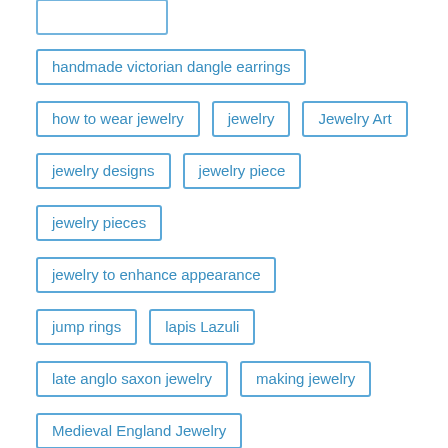(partial top item, clipped)
handmade victorian dangle earrings
how to wear jewelry
jewelry
Jewelry Art
jewelry designs
jewelry piece
jewelry pieces
jewelry to enhance appearance
jump rings
lapis Lazuli
late anglo saxon jewelry
making jewelry
Medieval England Jewelry
middle ages jewelry
Necklace
necklaces
peridot stones
(partial bottom item, clipped)